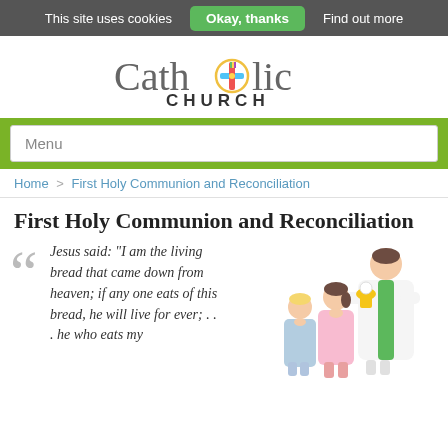This site uses cookies  Okay, thanks  Find out more
[Figure (logo): Catholic Church logo with colorful cross replacing the 'o' in Catholic, text reads 'Catholic CHURCH']
Menu
Home > First Holy Communion and Reconciliation
First Holy Communion and Reconciliation
Jesus said: “I am the living bread that came down from heaven; if any one eats of this bread, he will live for ever; . . . he who eats my
[Figure (illustration): Cartoon illustration of a priest in white and green vestments giving communion to two children, a boy and a girl with hands clasped in prayer]